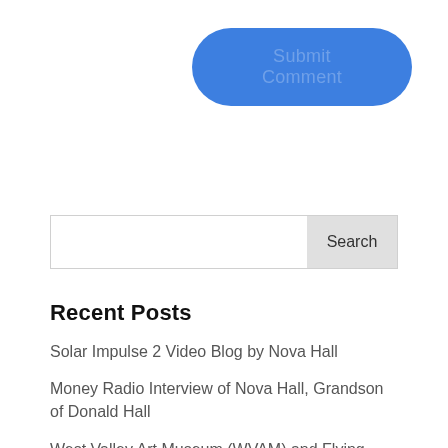[Figure (other): Blue rounded rectangle button labeled 'Submit Comment']
[Figure (other): Search input field with 'Search' button on the right]
Recent Posts
Solar Impulse 2 Video Blog by Nova Hall
Money Radio Interview of Nova Hall, Grandson of Donald Hall
West Valley Art Museum (WVAM) and Flying Over Time
Cool Alumni Jobs – A Blog by Arizona State University (ASU) Magazine